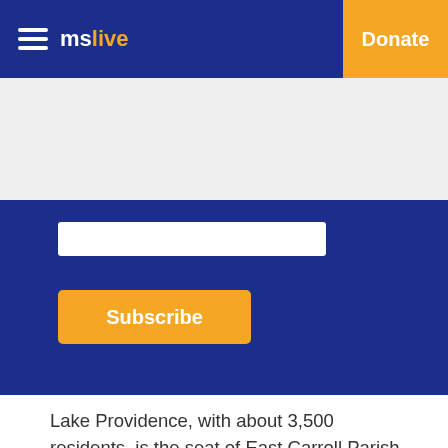mslive | Donate
Lake Providence, with about 3,500 residents, is the seat of East Carroll Parish. The town sits along the Mississippi River and next to the oxbow lake from which it derives its name. The calls from residents for a rodeo often come in the spring, when the river rises and drives more snakes into the lake, Williams said.